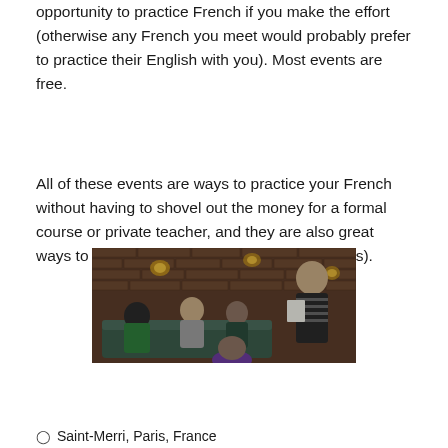opportunity to practice French if you make the effort (otherwise any French you meet would probably prefer to practice their English with you). Most events are free.
All of these events are ways to practice your French without having to shovel out the money for a formal course or private teacher, and they are also great ways to meet people in Paris (expats and locals).
[Figure (photo): Group of people socializing in a dimly lit bar or cafe with exposed brick walls and warm wall sconces. A woman in a striped shirt stands holding papers while others sit on couches and chairs around her.]
Saint-Merri, Paris, France